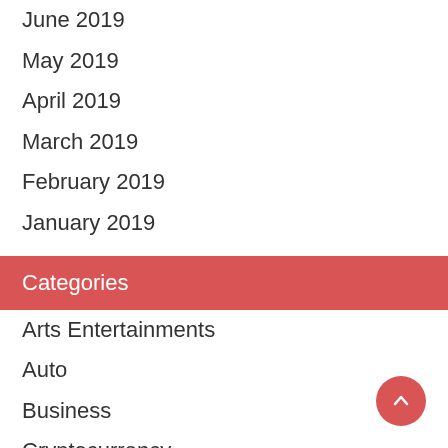June 2019
May 2019
April 2019
March 2019
February 2019
January 2019
Categories
Arts Entertainments
Auto
Business
Cryptocurrency
Digital Marketing
Education